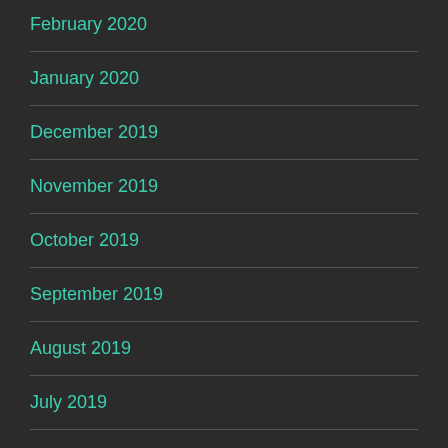February 2020
January 2020
December 2019
November 2019
October 2019
September 2019
August 2019
July 2019
June 2019
May 2019
April 2019